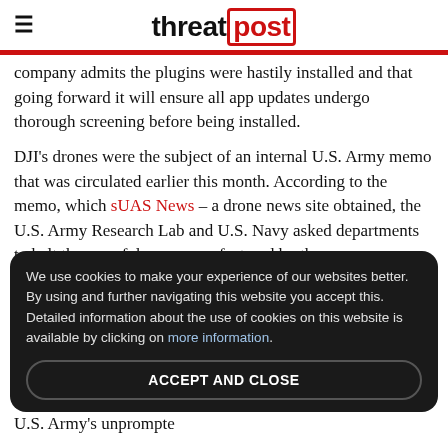threatpost
company admits the plugins were hastily installed and that going forward it will ensure all app updates undergo thorough screening before being installed.
DJI's drones were the subject of an internal U.S. Army memo that was circulated earlier this month. According to the memo, which sUAS News – a drone news site obtained, the U.S. Army Research Lab and U.S. Navy asked departments to halt the use of drones manufactured by th...
We use cookies to make your experience of our websites better. By using and further navigating this website you accept this. Detailed information about the use of cookies on this website is available by clicking on more information.
ACCEPT AND CLOSE
U.S. Army's unprompte